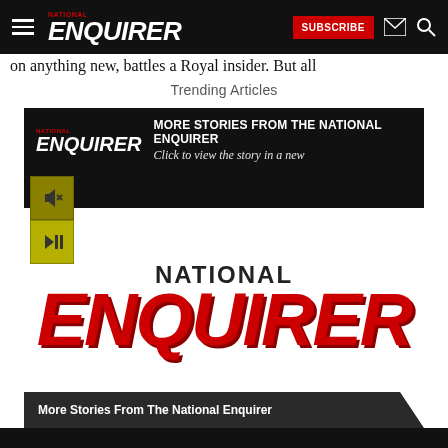NATIONAL ENQUIRER — SUBSCRIBE
on anything new, battles a Royal insider. But all
Trending Articles
[Figure (screenshot): National Enquirer promotional advertisement block showing the National Enquirer logo in large red italic bold text on a white background, with a black header banner reading MORE STORIES FROM THE NATIONAL ENQUIRER and Click to view the story in a new, media control buttons on the left side (mute and play/pause icons in olive/yellow squares), and a dark ribbon at the bottom reading More Stories From The National Enquirer]